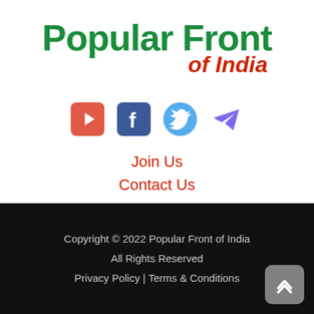[Figure (logo): Popular Front of India logo — bold green 'Popular Front' text and italic red 'of India' text]
[Figure (infographic): Social media icons row: YouTube (orange/red), Facebook (blue), Twitter (light blue), Telegram (purple)]
Join Us
Contact Us
Copyright © 2022 Popular Front of India
All Rights Reserved
Privacy Policy | Terms & Conditions